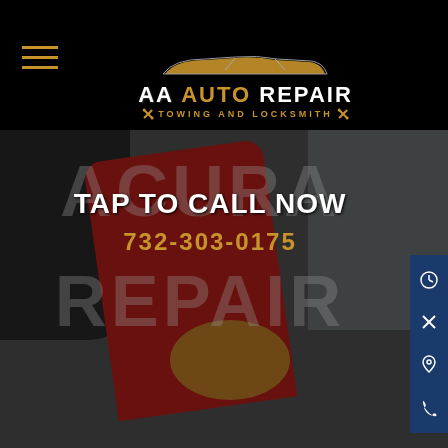AA AUTO REPAIR TOWING AND LOCKSMITH
[Figure (logo): AA Auto Repair Towing and Locksmith logo with car silhouette and crossed wrenches on black background]
[Figure (photo): Close-up photo of red automotive brake caliper with dark and yellow mechanical parts in background, dimmed overlay]
ACURA
TAP TO CALL NOW
732-303-0175
REPAIR